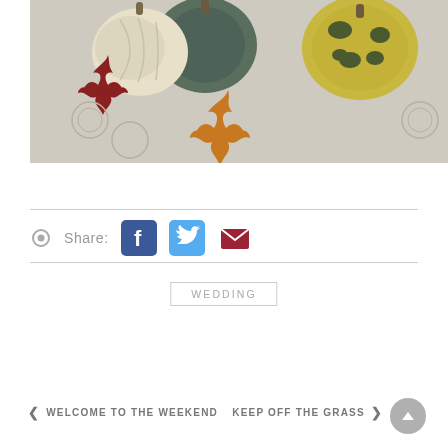[Figure (photo): Autumn gourds and decorative pumpkins with fall leaves arranged on a white embroidered tablecloth]
Share:
WEDDING
◀ WELCOME TO THE WEEKEND
KEEP OFF THE GRASS ▶